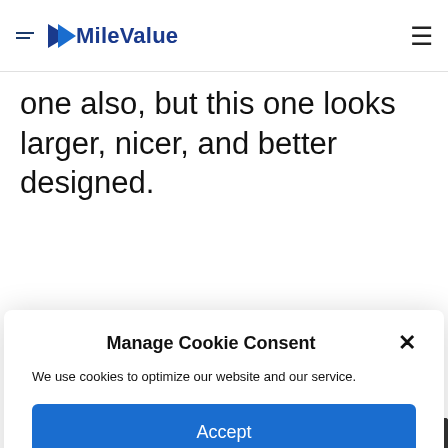MileValue
one also, but this one looks larger, nicer, and better designed.
Manage Cookie Consent
We use cookies to optimize our website and our service.
Accept
Cookie Policy
Here’s a video shot in Qatar A380 First Class:
[Figure (screenshot): Dark video thumbnail at the bottom of the page]